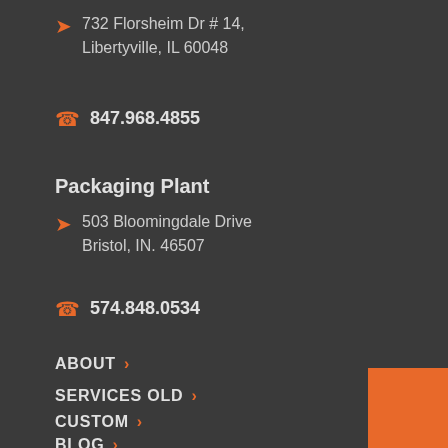732 Florsheim Dr # 14, Libertyville, IL 60048
847.968.4855
Packaging Plant
503 Bloomingdale Drive Bristol, IN. 46507
574.848.0534
ABOUT
SERVICES OLD
CUSTOM
BLOG